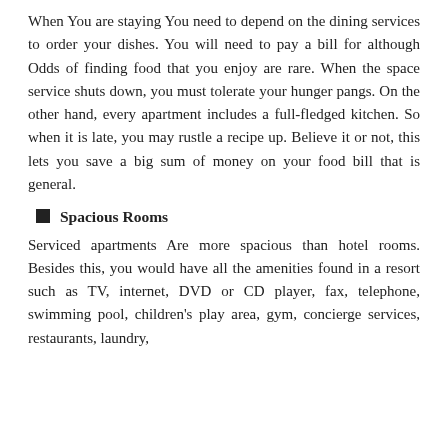When You are staying You need to depend on the dining services to order your dishes. You will need to pay a bill for although Odds of finding food that you enjoy are rare. When the space service shuts down, you must tolerate your hunger pangs. On the other hand, every apartment includes a full-fledged kitchen. So when it is late, you may rustle a recipe up. Believe it or not, this lets you save a big sum of money on your food bill that is general.
Spacious Rooms
Serviced apartments Are more spacious than hotel rooms. Besides this, you would have all the amenities found in a resort such as TV, internet, DVD or CD player, fax, telephone, swimming pool, children's play area, gym, concierge services, restaurants, laundry,